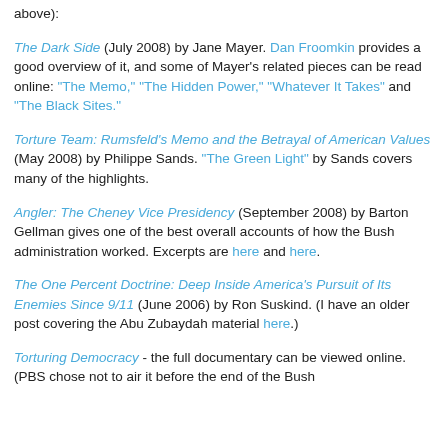above):
The Dark Side (July 2008) by Jane Mayer. Dan Froomkin provides a good overview of it, and some of Mayer's related pieces can be read online: "The Memo," "The Hidden Power," "Whatever It Takes" and "The Black Sites."
Torture Team: Rumsfeld's Memo and the Betrayal of American Values (May 2008) by Philippe Sands. "The Green Light" by Sands covers many of the highlights.
Angler: The Cheney Vice Presidency (September 2008) by Barton Gellman gives one of the best overall accounts of how the Bush administration worked. Excerpts are here and here.
The One Percent Doctrine: Deep Inside America's Pursuit of Its Enemies Since 9/11 (June 2006) by Ron Suskind. (I have an older post covering the Abu Zubaydah material here.)
Torturing Democracy - the full documentary can be viewed online. (PBS chose not to air it before the end of the Bush